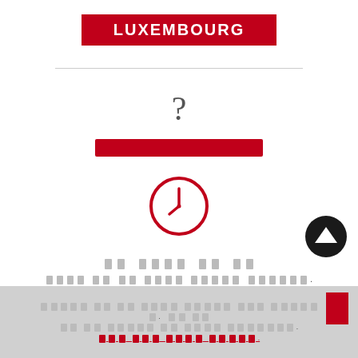LUXEMBOURG
[Figure (other): Red horizontal divider line]
?
[Figure (other): Red rectangular bar]
[Figure (other): Clock icon (red circle outline with clock hands)]
[Korean text - redacted header]
[Korean text - redacted body sentence]
[Korean footer text with redacted content and red link]